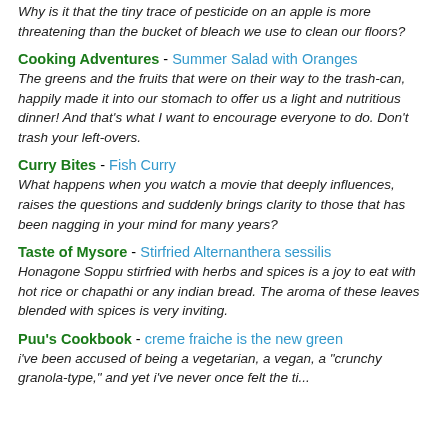Why is it that the tiny trace of pesticide on an apple is more threatening than the bucket of bleach we use to clean our floors?
Cooking Adventures - Summer Salad with Oranges
The greens and the fruits that were on their way to the trash-can, happily made it into our stomach to offer us a light and nutritious dinner! And that's what I want to encourage everyone to do. Don't trash your left-overs.
Curry Bites - Fish Curry
What happens when you watch a movie that deeply influences, raises the questions and suddenly brings clarity to those that has been nagging in your mind for many years?
Taste of Mysore - Stirfried Alternanthera sessilis
Honagone Soppu stirfried with herbs and spices is a joy to eat with hot rice or chapathi or any indian bread. The aroma of these leaves blended with spices is very inviting.
Puu's Cookbook - creme fraiche is the new green
i've been accused of being a vegetarian, a vegan, a "crunchy granola-type," and yet i've never once felt the tit...